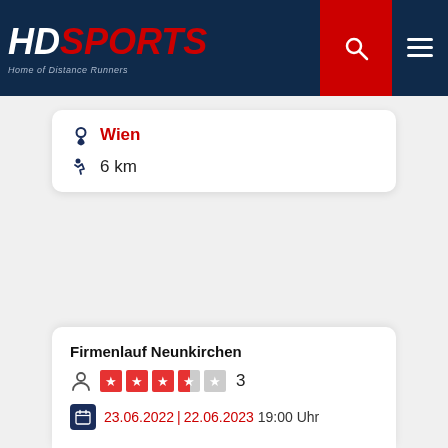[Figure (logo): HDsports logo - Home of Distance Runners - on dark navy background with red search icon and hamburger menu]
Wien
6 km
Firmenlauf Neunkirchen
3 (rating: 3 out of 5 stars)
23.06.2022 | 22.06.2023 19:00 Uhr